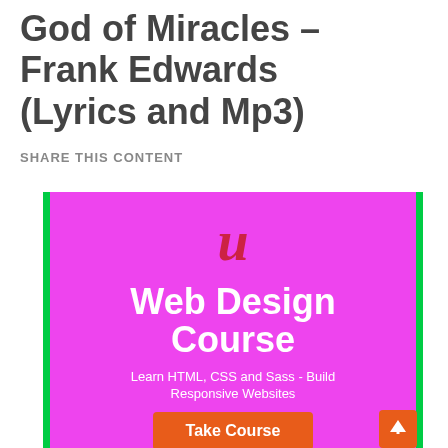God of Miracles – Frank Edwards (Lyrics and Mp3)
SHARE THIS CONTENT
[Figure (infographic): Udemy Web Design Course advertisement banner with magenta/pink background and green border. Shows stylized 'u' Udemy logo in red, bold white text 'Web Design Course', subtitle 'Learn HTML, CSS and Sass - Build Responsive Websites', and an orange 'Take Course' button at the bottom.]